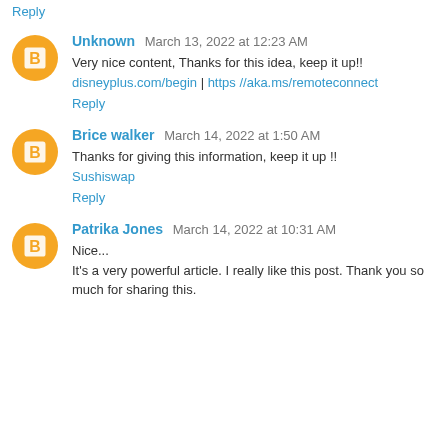Reply
Unknown March 13, 2022 at 12:23 AM
Very nice content, Thanks for this idea, keep it up!!
disneyplus.com/begin | https //aka.ms/remoteconnect
Reply
Brice walker March 14, 2022 at 1:50 AM
Thanks for giving this information, keep it up !!
Sushiswap
Reply
Patrika Jones March 14, 2022 at 10:31 AM
Nice...
It's a very powerful article. I really like this post. Thank you so much for sharing this.